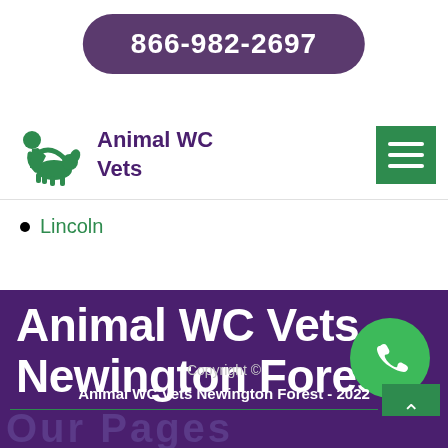866-982-2697
[Figure (logo): Animal WC Vets logo with green silhouette of person with dog]
Animal WC Vets
[Figure (other): Green hamburger menu icon]
Lincoln
Animal WC Vets Newington Forest
[Figure (other): Green circular phone call button]
Copyright ©
Animal WC Vets Newington Forest - 2022
[Figure (other): Green scroll-to-top button with upward caret]